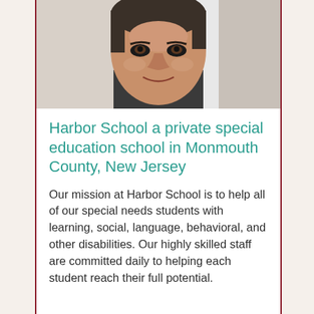[Figure (photo): Close-up portrait photo of a middle-aged man with short dark hair, smiling, photographed from chin to top of head against a light background.]
Harbor School a private special education school in Monmouth County, New Jersey
Our mission at Harbor School is to help all of our special needs students with learning, social, language, behavioral, and other disabilities. Our highly skilled staff are committed daily to helping each student reach their full potential.